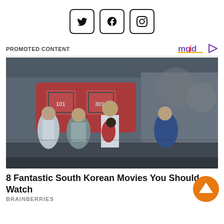[Figure (other): Social media icon buttons: Twitter, Facebook, Instagram]
PROMOTED CONTENT
[Figure (logo): mgid logo with play button icon]
[Figure (photo): Movie still from a South Korean film showing people running, a man carrying a child in a post-apocalyptic train setting]
8 Fantastic South Korean Movies You Should Watch
BRAINBERRIES